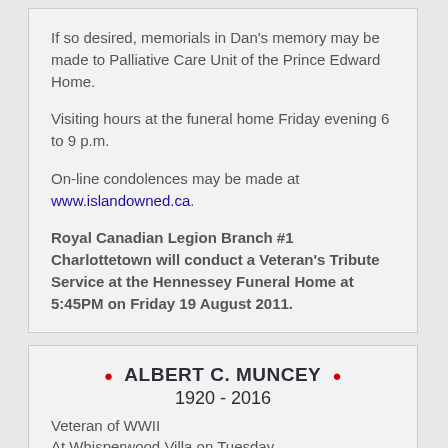If so desired, memorials in Dan's memory may be made to Palliative Care Unit of the Prince Edward Home.

Visiting hours at the funeral home Friday evening 6 to 9 p.m.

On-line condolences may be made at www.islandowned.ca.

Royal Canadian Legion Branch #1 Charlottetown will conduct a Veteran's Tribute Service at the Hennessey Funeral Home at 5:45PM on Friday 19 August 2011.
ALBERT C. MUNCEY 1920 - 2016
Veteran of WWII At Whisperwood Villa on Tuesday